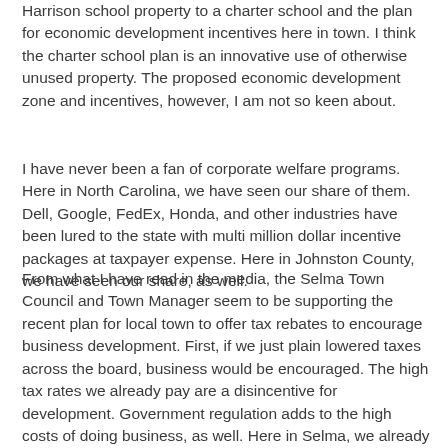Harrison school property to a charter school and the plan for economic development incentives here in town. I think the charter school plan is an innovative use of otherwise unused property. The proposed economic development zone and incentives, however, I am not so keen about.
I have never been a fan of corporate welfare programs. Here in North Carolina, we have seen our share of them. Dell, Google, FedEx, Honda, and other industries have been lured to the state with multi million dollar incentive packages at taxpayer expense. Here in Johnston County, we have seen our share, as well.
From what I have read in the media, the Selma Town Council and Town Manager seem to be supporting the recent plan for local town to offer tax rebates to encourage business development. First, if we just plain lowered taxes across the board, business would be encouraged. The high tax rates we already pay are a disincentive for development. Government regulation adds to the high costs of doing business, as well. Here in Selma, we already have an increased property tax rate plus sales tax, income tax, FICA, and federal taxes. If the business owners were able to keep more of their own money...